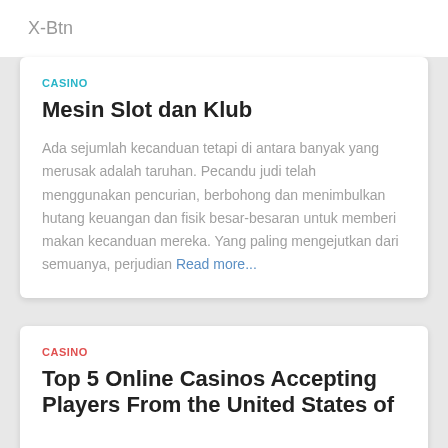X-Btn
CASINO
Mesin Slot dan Klub
Ada sejumlah kecanduan tetapi di antara banyak yang merusak adalah taruhan. Pecandu judi telah menggunakan pencurian, berbohong dan menimbulkan hutang keuangan dan fisik besar-besaran untuk memberi makan kecanduan mereka. Yang paling mengejutkan dari semuanya, perjudian Read more...
CASINO
Top 5 Online Casinos Accepting Players From the United States of